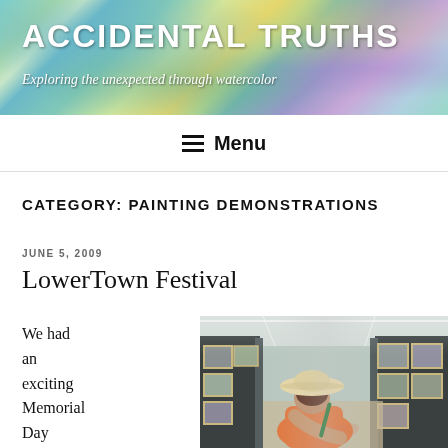ACCIDENTAL TRUTHS — Exploring the unexpected through watercolor
≡ Menu
CATEGORY: PAINTING DEMONSTRATIONS
JUNE 5, 2009
LowerTown Festival
We had an exciting Memorial Day weekend
[Figure (photo): Woman wearing a wide-brimmed sun hat and orange shirt, leaning over a table painting, inside an outdoor art festival booth with framed watercolor paintings displayed on dark panels behind her.]